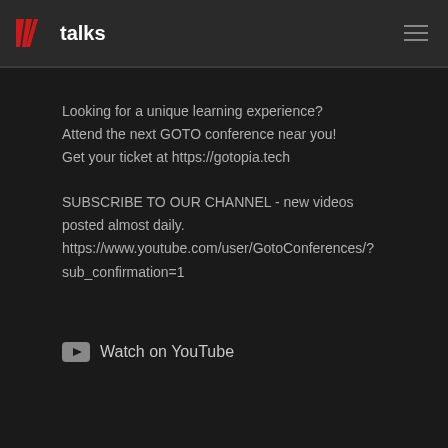GOTO talks
Looking for a unique learning experience?
Attend the next GOTO conference near you!
Get your ticket at https://gotopia.tech
SUBSCRIBE TO OUR CHANNEL - new videos posted almost daily.
https://www.youtube.com/user/GotoConferences/?sub_confirmation=1
Watch on YouTube